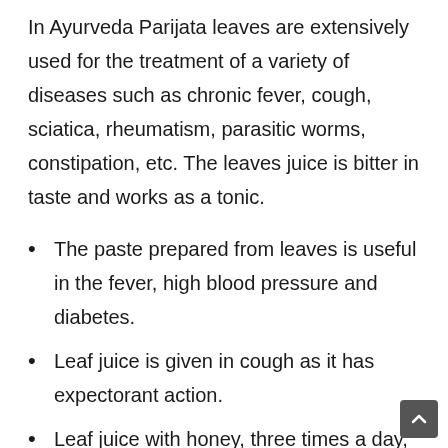In Ayurveda Parijata leaves are extensively used for the treatment of a variety of diseases such as chronic fever, cough, sciatica, rheumatism, parasitic worms, constipation, etc. The leaves juice is bitter in taste and works as a tonic.
The paste prepared from leaves is useful in the fever, high blood pressure and diabetes.
Leaf juice is given in cough as it has expectorant action.
Leaf juice with honey, three times a day, is useful in the treatment of fever, cough. Fever which occurs at irregular intervals and is not continuous or steady,